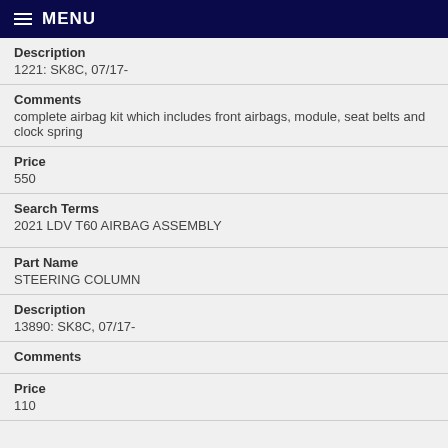MENU
Description
1221: SK8C, 07/17-
Comments
complete airbag kit which includes front airbags, module, seat belts and clock spring
Price
550
Search Terms
2021 LDV T60 AIRBAG ASSEMBLY
Part Name
STEERING COLUMN
Description
13890: SK8C, 07/17-
Comments
Price
110